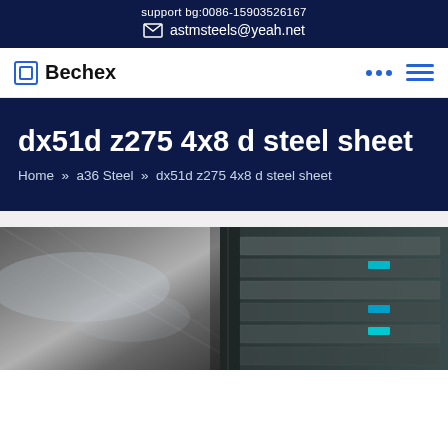support bg:0086-15903526167
astmsteels@yeah.net
Bechex
dx51d z275 4x8 d steel sheet
Home » a36 Steel » dx51d z275 4x8 d steel sheet
[Figure (photo): Photo of galvanized steel sheet rolls/coils, showing shiny metallic surface on the left and stacked coils on the right with blue/teal markings]